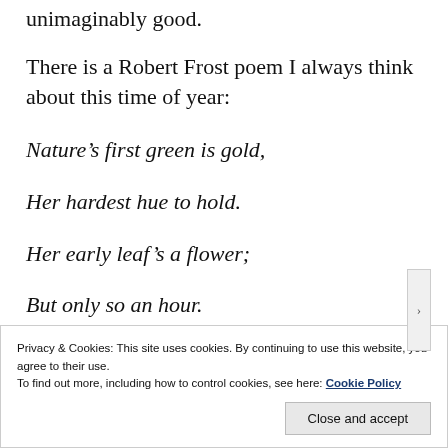unimaginably good.
There is a Robert Frost poem I always think about this time of year:
Nature’s first green is gold,
Her hardest hue to hold.
Her early leaf’s a flower;
But only so an hour.
Privacy & Cookies: This site uses cookies. By continuing to use this website, you agree to their use.
To find out more, including how to control cookies, see here: Cookie Policy